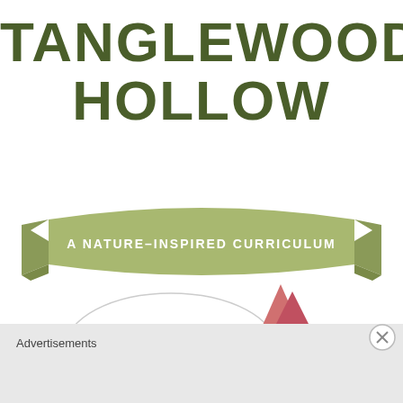TANGLEWOOD HOLLOW
[Figure (illustration): Green ribbon/banner with text 'A NATURE-INSPIRED CURRICULUM' in white capital letters on an olive-green scroll/banner shape]
[Figure (illustration): A gnome character (girl with red/pink hair and a pink pointed hat, wearing a green dress and white apron, carrying a basket) with a speech bubble containing 'SUMMER!']
Advertisements